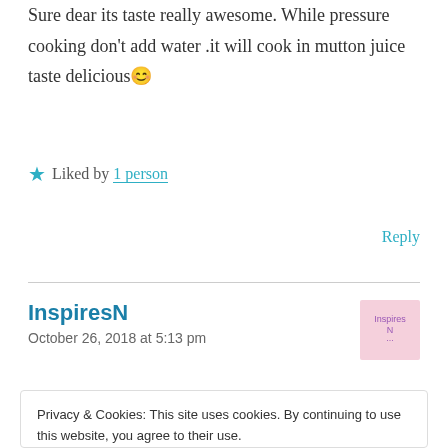Sure dear its taste really awesome. While pressure cooking don't add water .it will cook in mutton juice taste delicious 😊
★ Liked by 1 person
Reply
InspiresN
October 26, 2018 at 5:13 pm
Privacy & Cookies: This site uses cookies. By continuing to use this website, you agree to their use.
To find out more, including how to control cookies, see here: Cookie Policy
Close and accept
October 26, 2018 at 6:42 pm